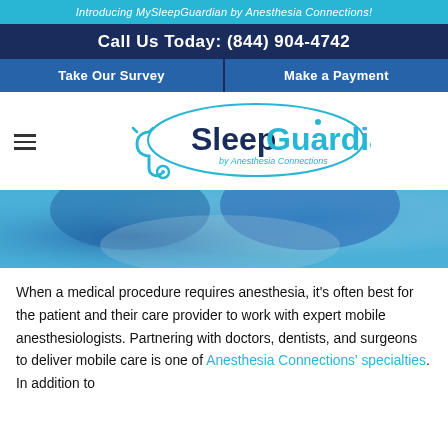Introducing MySleepGuardian by Anesthesia Connections!
Call Us Today: (844) 904-4742
Take Our Survey
Make a Payment
[Figure (logo): SleepGuardian by Anesthesia Connections logo with stethoscope graphic]
[Figure (photo): Medical professional in blue surgical attire and gloves, close-up photo]
When a medical procedure requires anesthesia, it's often best for the patient and their care provider to work with expert mobile anesthesiologists. Partnering with doctors, dentists, and surgeons to deliver mobile care is one of Anesthesia Connections' specialties. In addition to